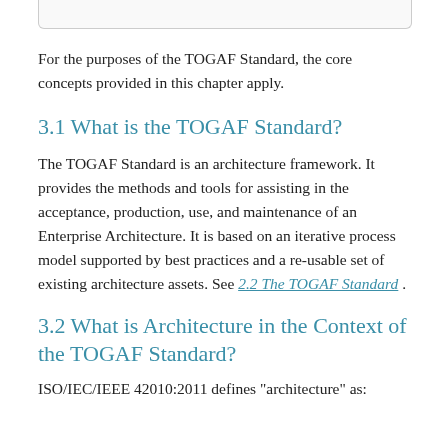For the purposes of the TOGAF Standard, the core concepts provided in this chapter apply.
3.1 What is the TOGAF Standard?
The TOGAF Standard is an architecture framework. It provides the methods and tools for assisting in the acceptance, production, use, and maintenance of an Enterprise Architecture. It is based on an iterative process model supported by best practices and a re-usable set of existing architecture assets. See 2.2 The TOGAF Standard .
3.2 What is Architecture in the Context of the TOGAF Standard?
ISO/IEC/IEEE 42010:2011 defines "architecture" as: